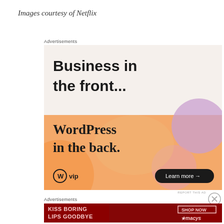Images courtesy of Netflix
Advertisements
[Figure (screenshot): WordPress VIP advertisement: top half has light beige background with bold text 'Business in the front...'; bottom half has colorful gradient (orange, purple, pink blobs) with bold serif text 'WordPress in the back.' and WordPress VIP logo on bottom left, 'Learn more →' button on bottom right]
REPORT THIS AD
Advertisements
[Figure (screenshot): Macy's advertisement with dark red background, text 'KISS BORING LIPS GOODBYE' on left in light pink, 'SHOP NOW' boxed text and Macy's star logo on right]